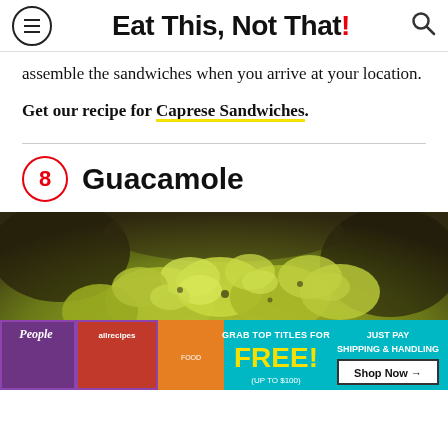Eat This, Not That!
assemble the sandwiches when you arrive at your location.
Get our recipe for Caprese Sandwiches.
8 Guacamole
[Figure (photo): Close-up photo of fresh guacamole in a glass bowl, with chunky avocado texture visible, on a dark background. An advertisement banner appears at the bottom of the image for free magazine subscriptions.]